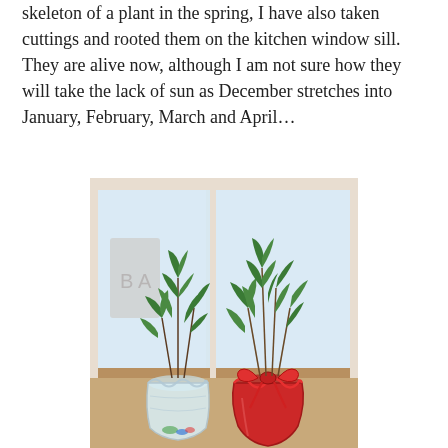skeleton of a plant in the spring, I have also taken cuttings and rooted them on the kitchen window sill.  They are alive now, although I am not sure how they will take the lack of sun as December stretches into January, February, March and April…
[Figure (photo): Two rosemary cuttings in vases on a window sill: one in a clear plastic vase and one in a red decorative vase with a bow, both with green leafy sprigs against a bright window background.]